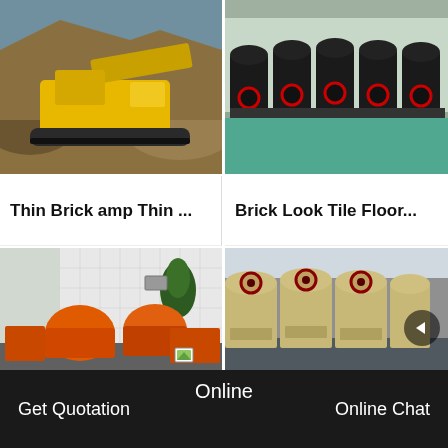[Figure (photo): Yellow heavy crawler crusher/conveyor machine operating in a quarry with rocky terrain and earthen slopes]
[Figure (photo): Multiple large black industrial cone crushers with red accents lined up in a factory/warehouse]
Thin Brick amp Thin ...
Brick Look Tile Floor...
[Figure (photo): Orange industrial hammer/impact crushers and equipment arranged outside a factory building with a tree visible]
[Figure (photo): Several large jaw crushers in beige/cream color with red accents inside an industrial warehouse]
Online   Get Quotation   Online Chat